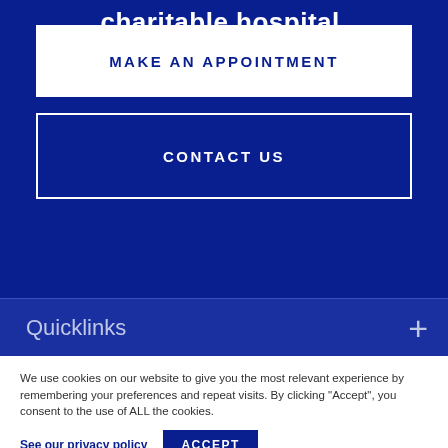charitable hospital.
MAKE AN APPOINTMENT
CONTACT US
Quicklinks
We use cookies on our website to give you the most relevant experience by remembering your preferences and repeat visits. By clicking “Accept”, you consent to the use of ALL the cookies.
See our privacy policy
ACCEPT